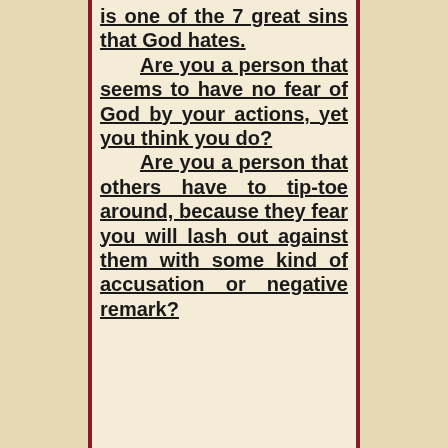is one of the 7 great sins that God hates. Are you a person that seems to have no fear of God by your actions, yet you think you do? Are you a person that others have to tip-toe around, because they fear you will lash out against them with some kind of accusation or negative remark?